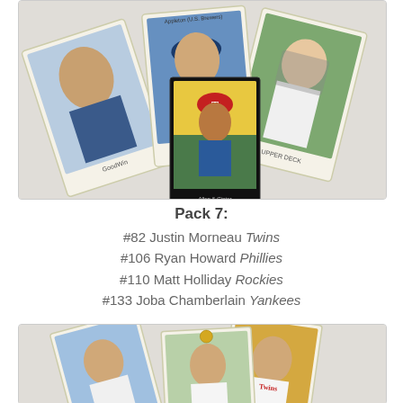[Figure (photo): Group of baseball cards fanned out on a white background, showing illustrated player portraits including a Milwaukee Brewers player, a Texas Rangers player, and a catcher. Cards appear to be Upper Deck and Goodwin Champions style vintage artwork cards.]
Pack 7:
#82 Justin Morneau Twins
#106 Ryan Howard Phillies
#110 Matt Holliday Rockies
#133 Joba Chamberlain Yankees
[Figure (photo): Another group of baseball cards fanned out on a white background, showing illustrated player portraits including a Twins player and other players. Similar vintage artwork style cards.]